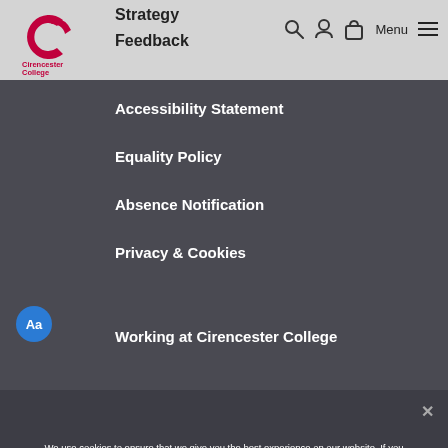[Figure (logo): Cirencester College logo — red crescent C shape with 'Cirencester College' text]
Strategy  Feedback
Accessibility Statement
Equality Policy
Absence Notification
Privacy & Cookies
Working at Cirencester College
We use cookies to ensure that we give you the best experience on our website. If you continue to use this site we will assume that you are happy with it.